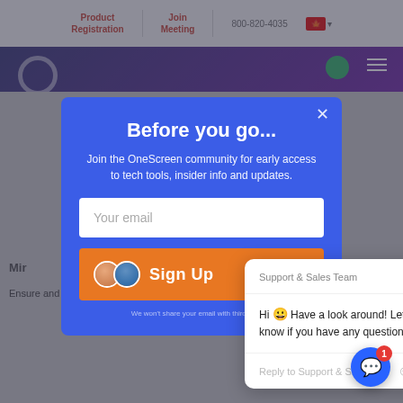Product Registration | Join Meeting | 800-820-4035
[Figure (screenshot): Website header with purple gradient bar, logo, and navigation icons]
Before you go...
Join the OneScreen community for early access to tech tools, insider info and updates.
Your email
Sign Up
We won't share your email with third parties.
Support & Sales Team
Hi 😀 Have a look around! Let us know if you have any questions.
Reply to Support & S...
1